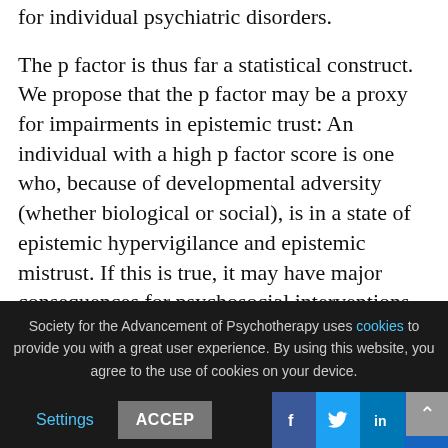for individual psychiatric disorders. The p factor is thus far a statistical construct. We propose that the p factor may be a proxy for impairments in epistemic trust: An individual with a high p factor score is one who, because of developmental adversity (whether biological or social), is in a state of epistemic hypervigilance and epistemic mistrust. If this is true, it may have major consequences for psychosocial interventions. It would mean, for instance, that...
Society for the Advancement of Psychotherapy uses cookies to provide you with a great user experience. By using this website, you agree to the use of cookies on your device.
Settings  ACCEPT